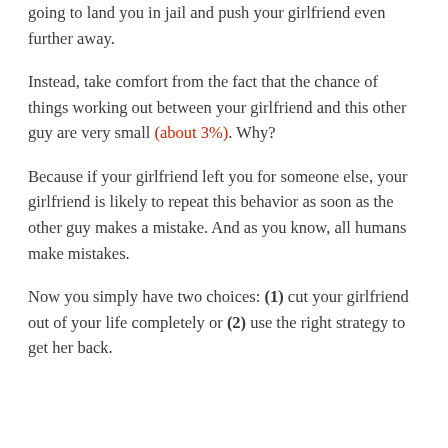going to land you in jail and push your girlfriend even further away.
Instead, take comfort from the fact that the chance of things working out between your girlfriend and this other guy are very small (about 3%). Why?
Because if your girlfriend left you for someone else, your girlfriend is likely to repeat this behavior as soon as the other guy makes a mistake. And as you know, all humans make mistakes.
Now you simply have two choices: (1) cut your girlfriend out of your life completely or (2) use the right strategy to get her back.